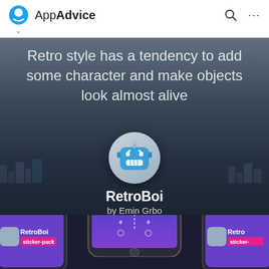AppAdvice
Retro style has a tendency to add some character and make objects look almost alive
[Figure (screenshot): RetroBoi app icon — blue retro robot face with smile, circular border, on dark background]
RetroBoi
by Emin Grbo
[Figure (screenshot): Three iPhone mockups showing the RetroBoi sticker pack app, with purple/blue gradient screens and app store branding. Left and right show partial phones with RetroBoi sticker pack badge. Center phone shows main app interface.]